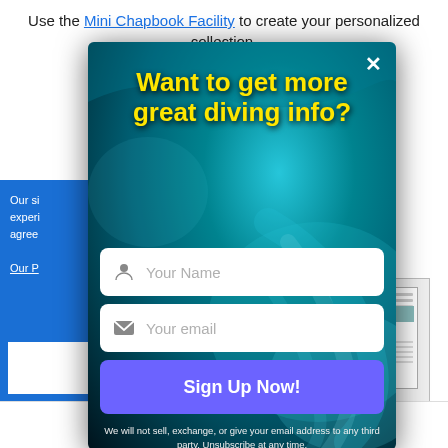Use the Mini Chapbook Facility to create your personalized collection.
Note: Th... but has NOT bee... ing on our webs... s and
Our si... experi... agree...
Our P...
[Figure (screenshot): Email signup modal popup overlaying a webpage. Dark ocean/octopus background with yellow headline 'Want to get more great diving info?', input fields for Your Name and Your email, a purple Sign Up Now! button, fine print about privacy, and a close X button.]